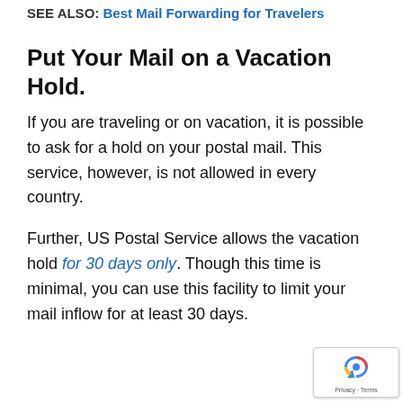SEE ALSO: Best Mail Forwarding for Travelers
Put Your Mail on a Vacation Hold.
If you are traveling or on vacation, it is possible to ask for a hold on your postal mail. This service, however, is not allowed in every country.
Further, US Postal Service allows the vacation hold for 30 days only. Though this time is minimal, you can use this facility to limit your mail inflow for at least 30 days.